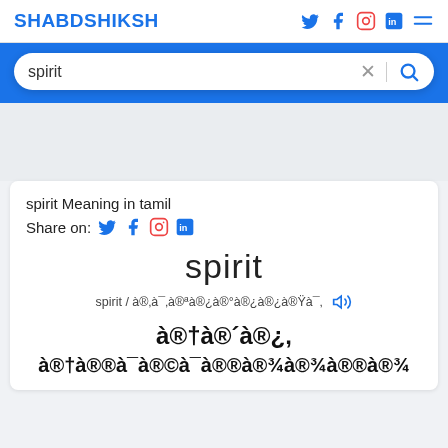SHABDSHIKSH
spirit
spirit Meaning in tamil
Share on:
spirit
spirit / à®‚à¯‚à®ªà®¿à®°à®¿à®¿à®Ÿà¯‚
à®†à®´à®¿, à®†à®®à¯à®©à¯à®®à®¾à¯¾